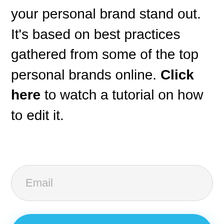your personal brand stand out. It's based on best practices gathered from some of the top personal brands online. Click here to watch a tutorial on how to edit it.
[Figure (other): Email input field with rounded corners and light gray background, showing placeholder text 'Email']
[Figure (other): Blue rounded button with text 'Get it Now!' and a blue drop shadow]